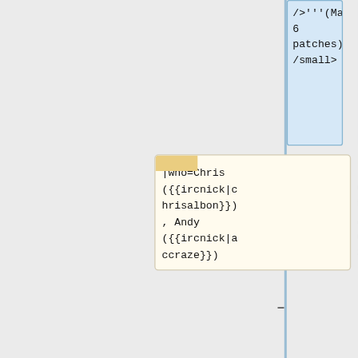/>'''(Max 6 patches)'''</small>
|who=Chris ({{ircnick|chrisalbon}}), Andy ({{ircnick|accraze}})
|what=See [[mw:Extension:Graph|Graphoid]]
}}
{{Deployment calendar event card